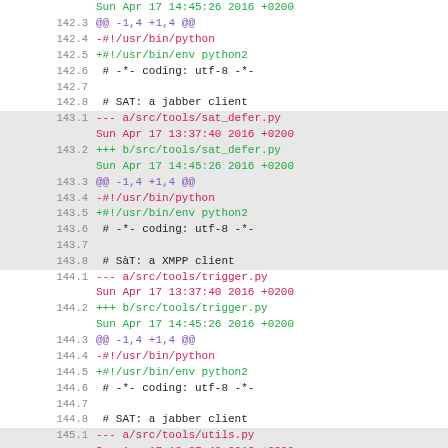Sun Apr 17 14:45:26 2016 +0200
142.3   @@ -1,4 +1,4 @@
142.4   -#!/usr/bin/python
142.5   +#!/usr/bin/env python2
142.6    # -*- coding: utf-8 -*-
142.7
142.8    # SAT: a jabber client
143.1   --- a/src/tools/sat_defer.py
Sun Apr 17 13:37:40 2016 +0200
143.2   +++ b/src/tools/sat_defer.py
Sun Apr 17 14:45:26 2016 +0200
143.3   @@ -1,4 +1,4 @@
143.4   -#!/usr/bin/python
143.5   +#!/usr/bin/env python2
143.6    # -*- coding: utf-8 -*-
143.7
143.8    # SàT: a XMPP client
144.1   --- a/src/tools/trigger.py
Sun Apr 17 13:37:40 2016 +0200
144.2   +++ b/src/tools/trigger.py
Sun Apr 17 14:45:26 2016 +0200
144.3   @@ -1,4 +1,4 @@
144.4   -#!/usr/bin/python
144.5   +#!/usr/bin/env python2
144.6    # -*- coding: utf-8 -*-
144.7
144.8    # SAT: a jabber client
145.1   --- a/src/tools/utils.py
Sun Apr 17 13:37:40 2016 +0200